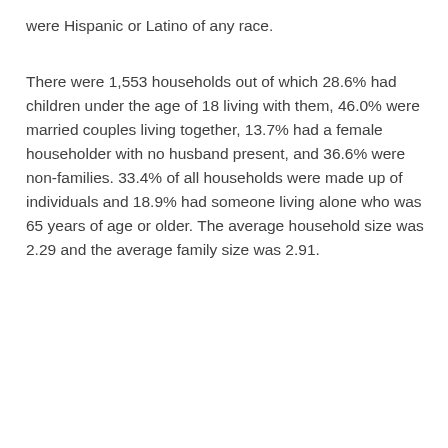were Hispanic or Latino of any race.
There were 1,553 households out of which 28.6% had children under the age of 18 living with them, 46.0% were married couples living together, 13.7% had a female householder with no husband present, and 36.6% were non-families. 33.4% of all households were made up of individuals and 18.9% had someone living alone who was 65 years of age or older. The average household size was 2.29 and the average family size was 2.91.